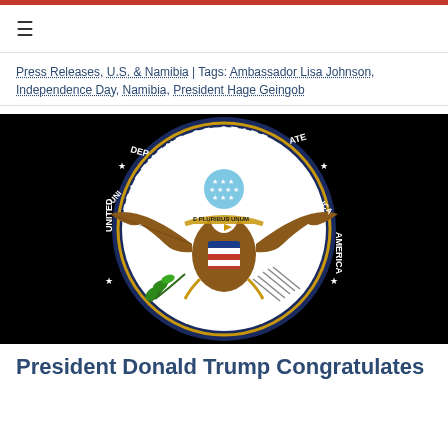Press Releases, U.S. & Namibia | Tags: Ambassador Lisa Johnson, Independence Day, Namibia, President Hage Geingob
[Figure (illustration): U.S. Department of State seal showing the Great Seal of the United States — a bald eagle with wings spread holding an olive branch and arrows, with a shield on its chest, the motto E Pluribus Unum on a banner, and stars above. Surrounded by a navy blue circular border reading DEPARTMENT OF STATE UNITED STATES OF AMERICA with gold trim. Black background.]
President Donald Trump Congratulates